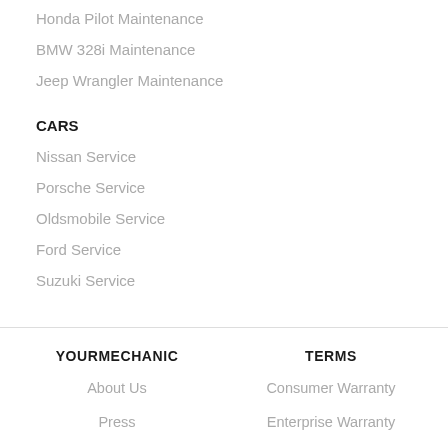Honda Pilot Maintenance
BMW 328i Maintenance
Jeep Wrangler Maintenance
CARS
Nissan Service
Porsche Service
Oldsmobile Service
Ford Service
Suzuki Service
YOURMECHANIC  TERMS  About Us  Consumer Warranty  Press  Enterprise Warranty  Fleet Maintenance  Privacy Policy